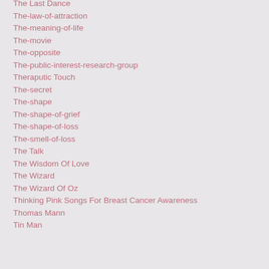The Last Dance
The-law-of-attraction
The-meaning-of-life
The-movie
The-opposite
The-public-interest-research-group
Theraputic Touch
The-secret
The-shape
The-shape-of-grief
The-shape-of-loss
The-smell-of-loss
The Talk
The Wisdom Of Love
The Wizard
The Wizard Of Oz
Thinking Pink Songs For Breast Cancer Awareness
Thomas Mann
Tin Man